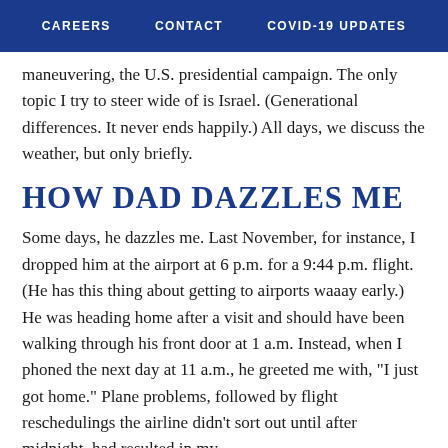CAREERS   CONTACT   COVID-19 UPDATES
maneuvering, the U.S. presidential campaign. The only topic I try to steer wide of is Israel. (Generational differences. It never ends happily.) All days, we discuss the weather, but only briefly.
HOW DAD DAZZLES ME
Some days, he dazzles me. Last November, for instance, I dropped him at the airport at 6 p.m. for a 9:44 p.m. flight. (He has this thing about getting to airports waaay early.) He was heading home after a visit and should have been walking through his front door at 1 a.m. Instead, when I phoned the next day at 11 a.m., he greeted me with, "I just got home." Plane problems, followed by flight reschedulings the airline didn't sort out until after midnight, had resulted in my